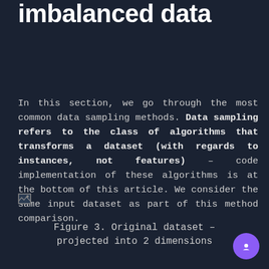techniques to handle imbalanced data
In this section, we go through the most common data sampling methods. Data sampling refers to the class of algorithms that transforms a dataset (with regards to instances, not features) – code implementation of these algorithms is at the bottom of this article. We consider the same input dataset as part of this method comparison.
[Figure (other): Broken image placeholder for a figure showing original dataset projected into 2 dimensions]
Figure 3. Original dataset – projected into 2 dimensions